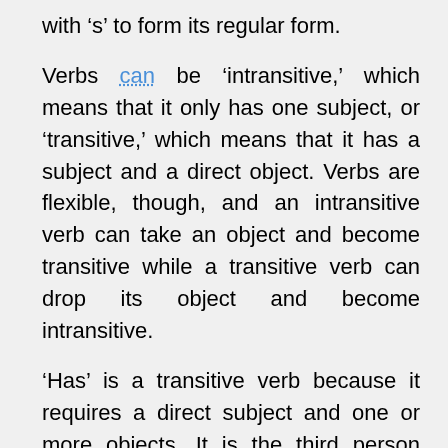with 's' to form its regular form.
Verbs can be 'intransitive,' which means that it only has one subject, or 'transitive,' which means that it has a subject and a direct object. Verbs are flexible, though, and an intransitive verb can take an object and become transitive while a transitive verb can drop its object and become intransitive.
'Has' is a transitive verb because it requires a direct subject and one or more objects. It is the third person singular present tense of the verb 'have.' For example, in the sentence: 'Jane has pimples,' 'pimples' is the direct object of 'has.' It came from the Middle English word 'haven' or 'habben,' from the Old English 'habban' which is similar to the word